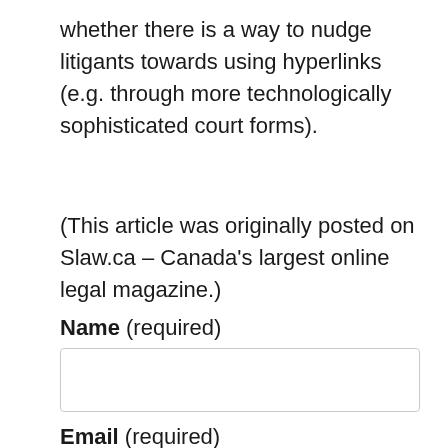whether there is a way to nudge litigants towards using hyperlinks (e.g. through more technologically sophisticated court forms).
(This article was originally posted on Slaw.ca – Canada's largest online legal magazine.)
Name (required)
Email (required)